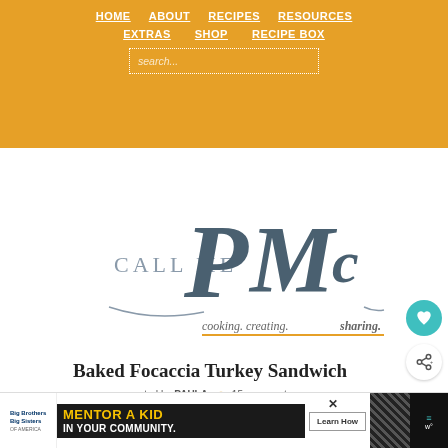HOME | ABOUT | RECIPES | RESOURCES | EXTRAS | SHOP | RECIPE BOX
[Figure (logo): Call Me PMc logo — script lettering with tagline 'cooking. creating. sharing.']
Baked Focaccia Turkey Sandwich
posted by PAULA  15 comments
[Figure (infographic): Advertisement banner: Big Brothers Big Sisters — MENTOR A KID IN YOUR COMMUNITY. Learn How button. With decorative diagonal stripe pattern and logo icons on right.]